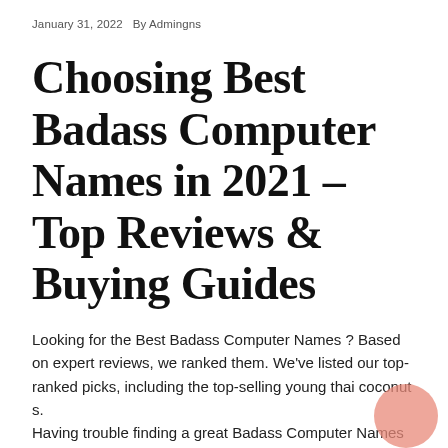January 31, 2022   By Admingns
Choosing Best Badass Computer Names in 2021 – Top Reviews & Buying Guides
Looking for the Best Badass Computer Names ? Based on expert reviews, we ranked them. We've listed our top-ranked picks, including the top-selling young thai coconut s.
Having trouble finding a great Badass Computer Names ? This problem is well understood by us